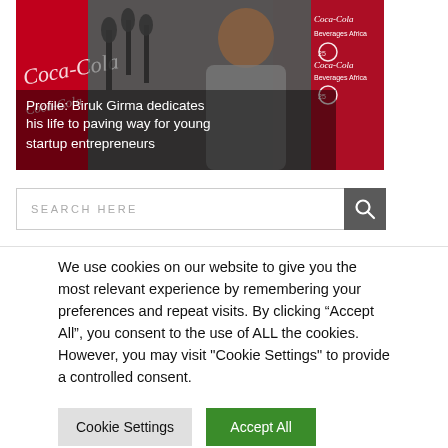[Figure (photo): A man in a grey jacket speaking at a press conference with multiple microphones, in front of a Coca-Cola branded backdrop. Text overlay reads 'Profile: Biruk Girma dedicates his life to paving way for young startup entrepreneurs'.]
SEARCH HERE
We use cookies on our website to give you the most relevant experience by remembering your preferences and repeat visits. By clicking "Accept All", you consent to the use of ALL the cookies. However, you may visit "Cookie Settings" to provide a controlled consent.